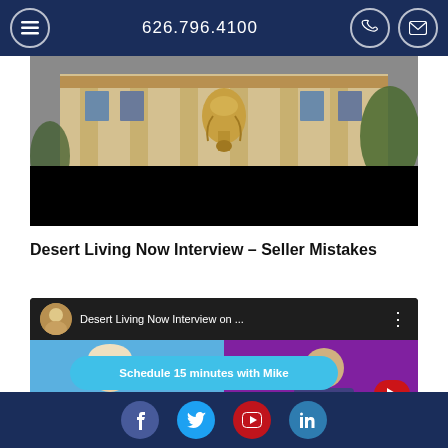626.796.4100
[Figure (photo): Exterior photo of a classical building with ornate architecture and a large golden decorative element; lower portion is dark/black]
Desert Living Now Interview – Seller Mistakes
[Figure (screenshot): YouTube video thumbnail showing 'Desert Living Now Interview on ...' with a man's avatar, split-screen thumbnail of a woman on left and a person on right with purple overlay, and a cyan 'Schedule 15 minutes with Mike' CTA button overlaid]
Facebook  Twitter  YouTube  LinkedIn